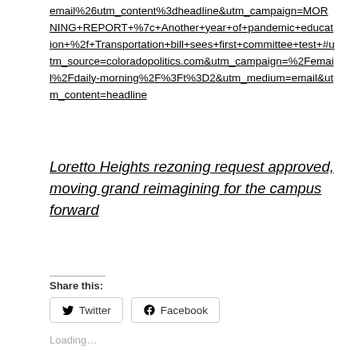email%26utm_content%3dheadline&utm_campaign=MORNING+REPORT+%7c+Another+year+of+pandemic+education+%2f+Transportation+bill+sees+first+committee+test+#utm_source=coloradopolitics.com&utm_campaign=%2Femail%2Fdaily-morning%2F%3Ft%3D2&utm_medium=email&utm_content=headline
Loretto Heights rezoning request approved, moving grand reimagining for the campus forward
Share this:
Twitter
Facebook
Loading…